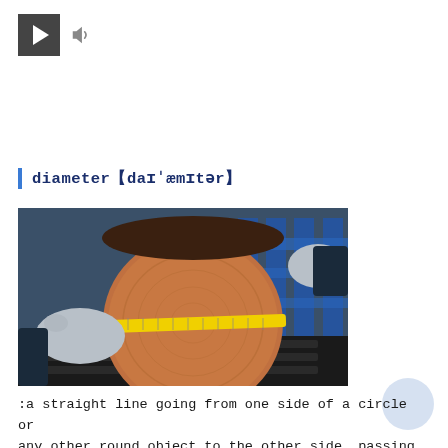[Figure (screenshot): Media player controls: a dark play button (triangle icon) and a speaker/audio icon]
diameter【daɪˈæmɪtər】
[Figure (photo): Photo of two gloved hands measuring the diameter of a cut log cross-section with a yellow tape measure, in an industrial or lumber setting with blue metal structures in the background.]
:a straight line going from one side of a circle or any other round object to the other side, passing